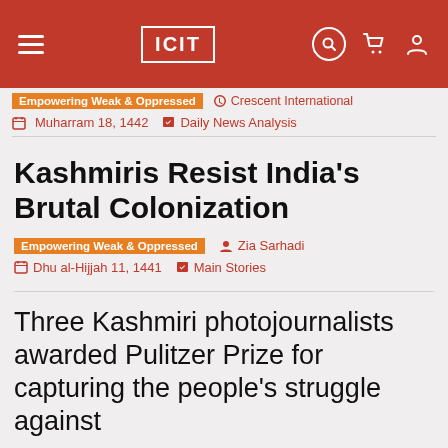ICIT
Empowering Weak & Oppressed   Crescent International
Muharram 18, 1442   Daily News Analysis
Kashmiris Resist India's Brutal Colonization
Empowering Weak & Oppressed   Zia Sarhadi
Dhu al-Hijjah 11, 1441   Main Stories
Three Kashmiri photojournalists awarded Pulitzer Prize for capturing the people's struggle against